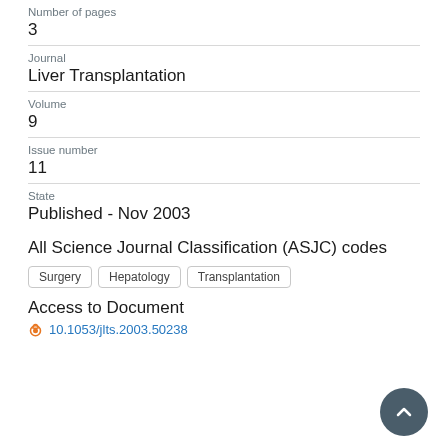Number of pages
3
Journal
Liver Transplantation
Volume
9
Issue number
11
State
Published - Nov 2003
All Science Journal Classification (ASJC) codes
Surgery
Hepatology
Transplantation
Access to Document
10.1053/jlts.2003.50238